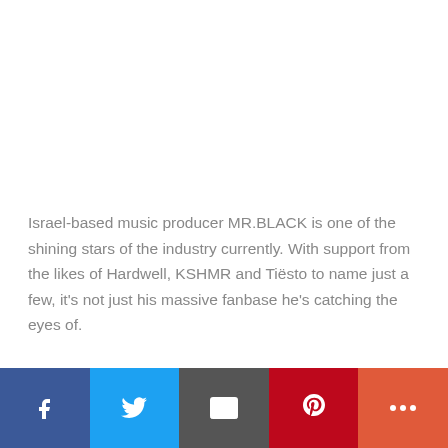Israel-based music producer MR.BLACK is one of the shining stars of the industry currently. With support from the likes of Hardwell, KSHMR and Tiësto to name just a few, it's not just his massive fanbase he's catching the eyes of.
[Figure (infographic): Social media share bar with Facebook, Twitter, Email, Pinterest, and More buttons]